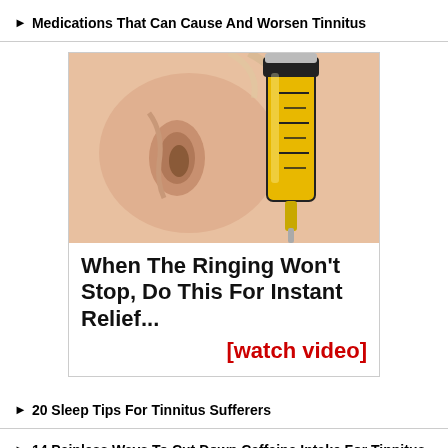▶ Medications That Can Cause And Worsen Tinnitus
[Figure (photo): Close-up photo of a human ear with a yellow and black syringe/dropper being inserted into it, suggesting ear treatment or medication administration.]
When The Ringing Won't Stop, Do This For Instant Relief... [watch video]
▶ 20 Sleep Tips For Tinnitus Sufferers
▶ 14 Painless Ways To Cut Down Caffeine Intake For Tinnitus Relief